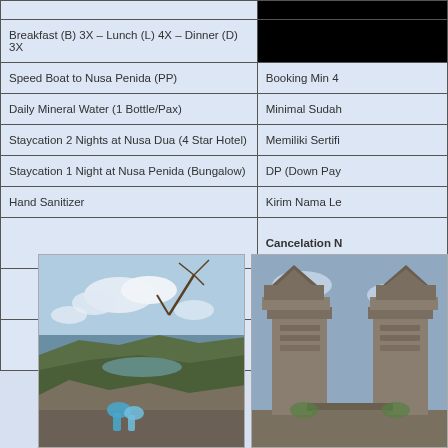| Included | Conditions |
| --- | --- |
| Breakfast (B) 3X – Lunch (L) 4X – Dinner (D) 3X |  |
| Speed Boat to Nusa Penida (PP) | Booking Min 4 |
| Daily Mineral Water (1 Bottle/Pax) | Minimal Sudah |
| Staycation 2 Nights at Nusa Dua (4 Star Hotel) | Memiliki Sertifi |
| Staycation 1 Night at Nusa Penida (Bungalow) | DP (Down Pay |
| Hand Sanitizer | Kirim Nama Le |
|  | Cancelation N |
|  | Patuhi protoco |
|  |  |
[Figure (photo): People at a clifftop viewpoint overlooking the sea in Bali/Nusa Penida]
[Figure (photo): Traditional Balinese temple gate (candi bentar) stone architecture]